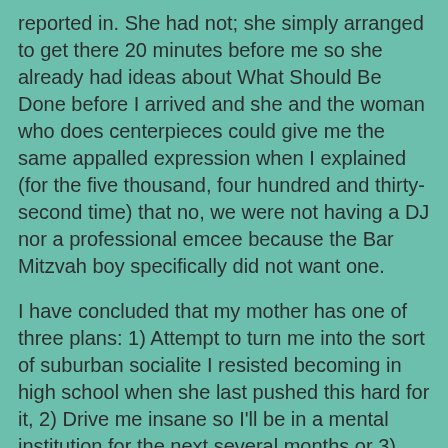reported in. She had not; she simply arranged to get there 20 minutes before me so she already had ideas about What Should Be Done before I arrived and she and the woman who does centerpieces could give me the same appalled expression when I explained (for the five thousand, four hundred and thirty-second time) that no, we were not having a DJ nor a professional emcee because the Bar Mitzvah boy specifically did not want one.

I have concluded that my mother has one of three plans: 1) Attempt to turn me into the sort of suburban socialite I resisted becoming in high school when she last pushed this hard for it, 2) Drive me insane so I'll be in a mental institution for the next several months or 3) Convince me to give up Judaism entirely and become a fully-practicing Pagan. If either of the latter is her goal, she's succeeding admirably...but wait, if she wanted me to give up Judaism she could just say so, and explaining that her daughter is in a mental institution would surely impact her social status almost as much as having a daughter who insists that people have been becoming Bar Mitzvahs for centuries without paying for a big freakin' background for the cake during the